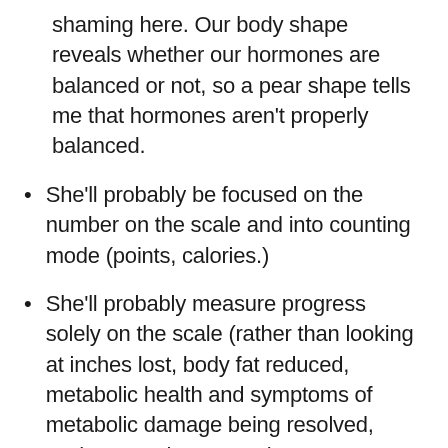shaming here. Our body shape reveals whether our hormones are balanced or not, so a pear shape tells me that hormones aren't properly balanced.
She'll probably be focused on the number on the scale and into counting mode (points, calories.)
She'll probably measure progress solely on the scale (rather than looking at inches lost, body fat reduced, metabolic health and symptoms of metabolic damage being resolved, such as cravings, a raging